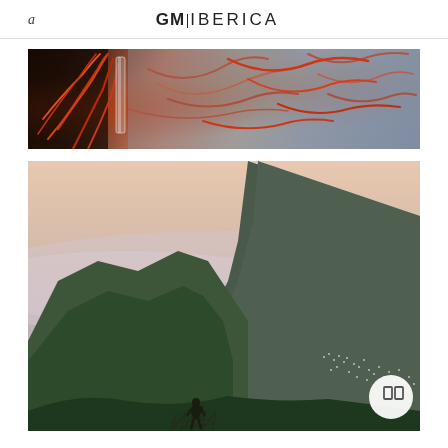a  GM|IBERICA
[Figure (photo): Close-up photo of saffron strands and a glass vial on a dark surface]
[Figure (photo): Scenic mountain landscape photo with a person standing at a viewpoint overlooking green mountains and a town in the valley; warm sunset sky]